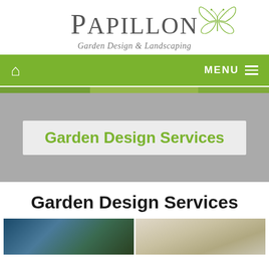[Figure (logo): Papillon Garden Design & Landscaping logo with butterfly illustration]
Home | MENU
[Figure (photo): Hero banner photo strip showing garden/landscaping]
Garden Design Services
Garden Design Services
[Figure (photo): Two garden design photos at the bottom of the page]